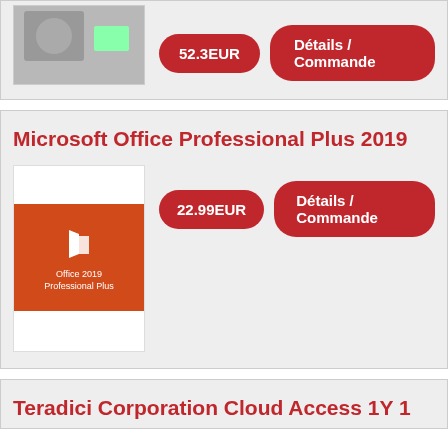[Figure (screenshot): Partial product image at top of page (cut off)]
52.3EUR
Détails / Commande
Microsoft Office Professional Plus 2019
[Figure (photo): Microsoft Office 2019 Professional Plus product box art with orange background and white Office logo]
22.99EUR
Détails / Commande
Teradici Corporation Cloud Access 1Y 1